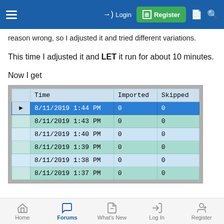Login | Register
reason wrong, so I adjusted it and tried different variations.
This time I adjusted it and LET it run for about 10 minutes.
Now I get
|  | Time | Imported | Skipped |
| --- | --- | --- | --- |
| ▶ | 8/11/2019 1:44 PM | 0 | 0 |
|  | 8/11/2019 1:43 PM | 0 | 0 |
|  | 8/11/2019 1:40 PM | 0 | 0 |
|  | 8/11/2019 1:39 PM | 0 | 0 |
|  | 8/11/2019 1:38 PM | 0 | 0 |
|  | 8/11/2019 1:37 PM | 0 | 0 |
Home | Forums | What's New | Log In | Register